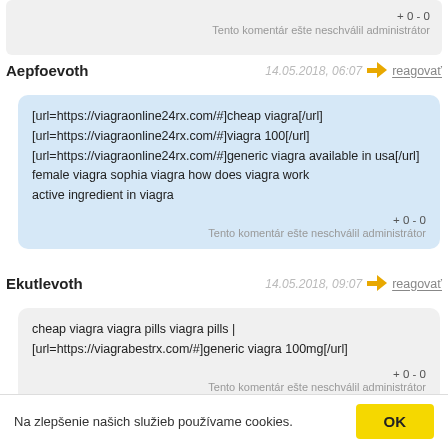+ 0 - 0
Tento komentár ešte neschválil administrátor
Aepfoevoth   14.05.2018, 06:07   reagovať
[url=https://viagraonline24rx.com/#]cheap viagra[/url]
[url=https://viagraonline24rx.com/#]viagra 100[/url]
[url=https://viagraonline24rx.com/#]generic viagra available in usa[/url]
female viagra sophia viagra how does viagra work
active ingredient in viagra
+ 0 - 0
Tento komentár ešte neschválil administrátor
Ekutlevoth   14.05.2018, 09:07   reagovať
cheap viagra viagra pills viagra pills |
[url=https://viagrabestrx.com/#]generic viagra 100mg[/url]
+ 0 - 0
Tento komentár ešte neschválil administrátor
Na zlepšenie našich služieb používame cookies.   OK